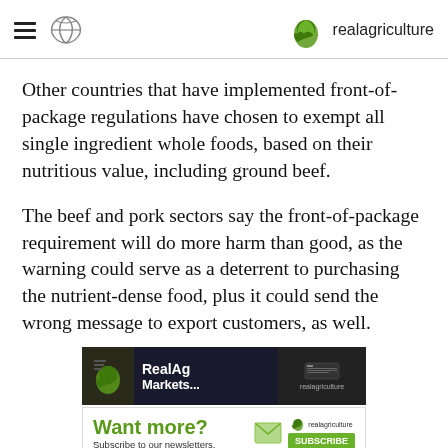realagriculture
Other countries that have implemented front-of-package regulations have chosen to exempt all single ingredient whole foods, based on their nutritious value, including ground beef.
The beef and pork sectors say the front-of-package requirement will do more harm than good, as the warning could serve as a deterrent to purchasing the nutrient-dense food, plus it could send the wrong message to export customers, as well.
[Figure (screenshot): RealAg Markets advertisement banner with dark background showing app interface and realagriculture logo]
[Figure (screenshot): Want more? Subscribe to our newsletters. realagriculture SUBSCRIBE button advertisement]